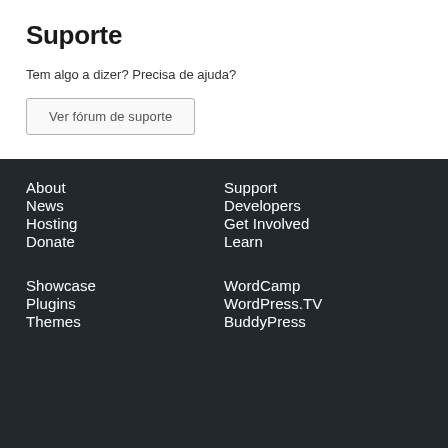Suporte
Tem algo a dizer? Precisa de ajuda?
Ver fórum de suporte
About
News
Hosting
Donate
Support
Developers
Get Involved
Learn
Showcase
Plugins
Themes
WordCamp
WordPress.TV
BuddyPress